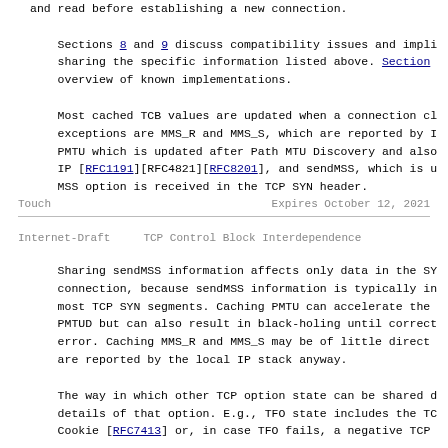and read before establishing a new connection.

Sections 8 and 9 discuss compatibility issues and implications of sharing the specific information listed above. Section [truncated] overview of known implementations.

Most cached TCB values are updated when a connection closes. The exceptions are MMS_R and MMS_S, which are reported by IP. PMTU which is updated after Path MTU Discovery and also by IP [RFC1191][RFC4821][RFC8201], and sendMSS, which is updated when MSS option is received in the TCP SYN header.
Touch                              Expires October 12, 2021
Internet-Draft      TCP Control Block Interdependence
Sharing sendMSS information affects only data in the SYN connection, because sendMSS information is typically included in most TCP SYN segments. Caching PMTU can accelerate the PMTUD but can also result in black-holing until corrected by error. Caching MMS_R and MMS_S may be of little direct benefit are reported by the local IP stack anyway.

The way in which other TCP option state can be shared depends on details of that option. E.g., TFO state includes the TCP Fast Open Cookie [RFC7413] or, in case TFO fails, a negative TCP